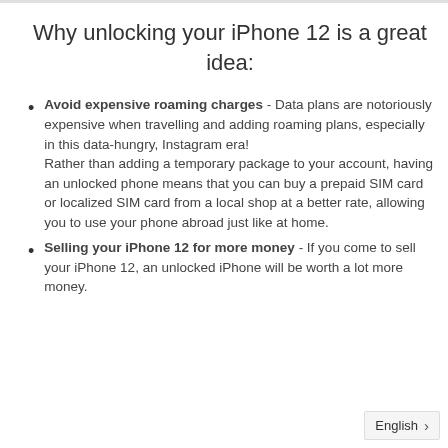Why unlocking your iPhone 12 is a great idea:
Avoid expensive roaming charges - Data plans are notoriously expensive when travelling and adding roaming plans, especially in this data-hungry, Instagram era! Rather than adding a temporary package to your account, having an unlocked phone means that you can buy a prepaid SIM card or localized SIM card from a local shop at a better rate, allowing you to use your phone abroad just like at home.
Selling your iPhone 12 for more money - If you come to sell your iPhone 12, an unlocked iPhone will be worth a lot more money.